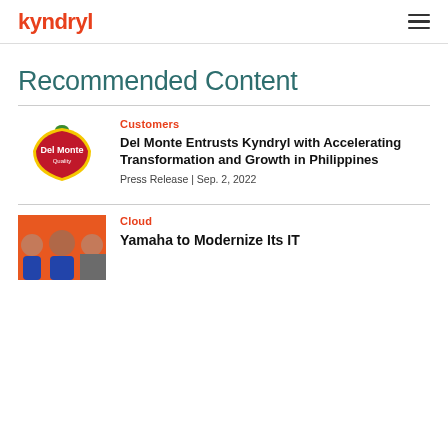kyndryl
Recommended Content
Customers
Del Monte Entrusts Kyndryl with Accelerating Transformation and Growth in Philippines
Press Release | Sep. 2, 2022
[Figure (logo): Del Monte Quality logo - red shield shape with green top and yellow border]
Cloud
Yamaha to Modernize Its IT
[Figure (photo): Three men smiling against an orange background]